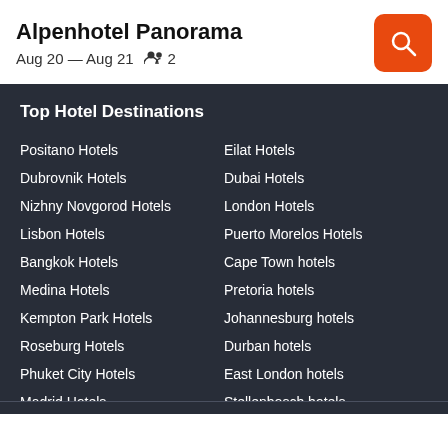Alpenhotel Panorama
Aug 20 — Aug 21   👥 2
Top Hotel Destinations
Positano Hotels
Eilat Hotels
Dubrovnik Hotels
Dubai Hotels
Nizhny Novgorod Hotels
London Hotels
Lisbon Hotels
Puerto Morelos Hotels
Bangkok Hotels
Cape Town hotels
Medina Hotels
Pretoria hotels
Kempton Park Hotels
Johannesburg hotels
Roseburg Hotels
Durban hotels
Phuket City Hotels
East London hotels
Madrid Hotels
Stellenbosch hotels
Albuquerque Hotels